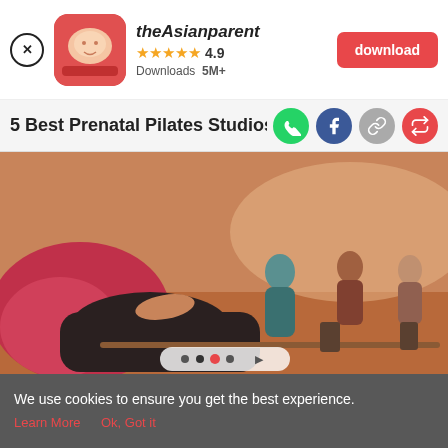[Figure (screenshot): App banner showing theAsianparent app with close button, app icon, name, rating 4.9 stars, Downloads 5M+, and a red download button]
5 Best Prenatal Pilates Studios in Sin
[Figure (photo): Pregnant woman in red/pink top doing pilates on a reformer machine, with other women in the background at a studio]
[Figure (screenshot): App bottom navigation bar with Tools, Articles, Feed, and Poll icons, with a centered pink pregnant woman icon]
We use cookies to ensure you get the best experience.
Learn More   Ok, Got it